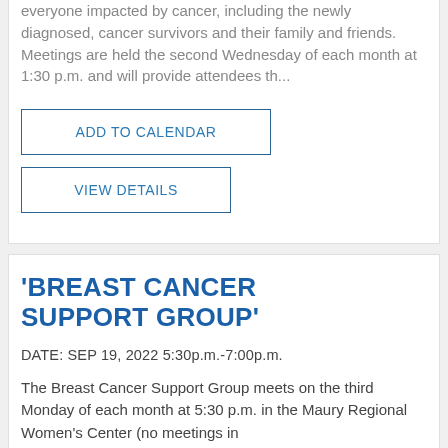everyone impacted by cancer, including the newly diagnosed, cancer survivors and their family and friends. Meetings are held the second Wednesday of each month at 1:30 p.m. and will provide attendees th...
ADD TO CALENDAR
VIEW DETAILS
'BREAST CANCER SUPPORT GROUP'
DATE: SEP 19, 2022 5:30p.m.-7:00p.m.
The Breast Cancer Support Group meets on the third Monday of each month at 5:30 p.m. in the Maury Regional Women's Center (no meetings in